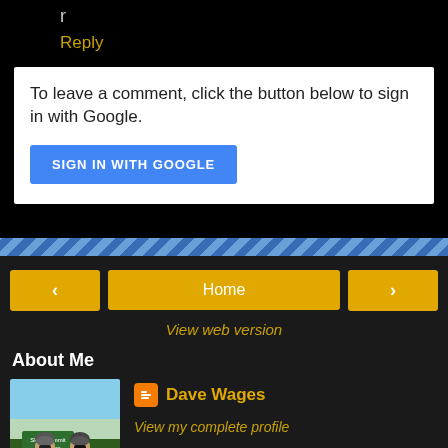r
Reply
To leave a comment, click the button below to sign in with Google.
SIGN IN WITH GOOGLE
Home
View web version
About Me
[Figure (photo): Profile photo of Dave Wages showing two cyclists in front of a snowy scene]
Dave Wages
View my complete profile
Powered by Blogger.